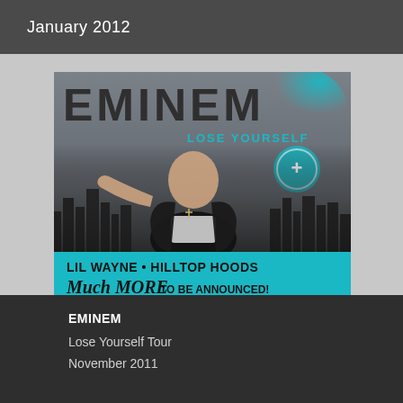January 2012
[Figure (photo): Eminem 'Lose Yourself Tour' concert poster featuring Eminem in a black jacket pointing at the viewer, with city skyline silhouette in the background and EMINEM title in large bold letters at top. Cyan/teal accent color with a '+' circle icon. Bottom teal banner reads 'LIL WAYNE • HILLTOP HOODS' and 'MUCH MORE TO BE ANNOUNCED!']
EMINEM
Lose Yourself Tour
November 2011